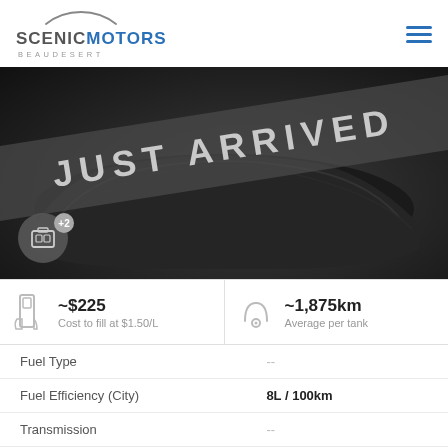[Figure (logo): Scenic Motors Beaudesert logo with stylized car outline above the text]
[Figure (photo): A car covered with a dark cloth in a dark studio setting with a diagonal 'JUST ARRIVED' banner overlay]
~$225 Cost to fill at $1.50/L
~1,875km Average per tank
| Spec | Value |
| --- | --- |
| Fuel Type | -- |
| Fuel Efficiency (City) | 8L / 100km |
| Transmission | -- |